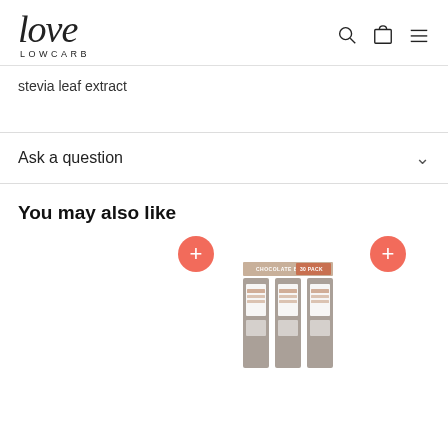[Figure (logo): Love Lowcarb logo with cursive 'love' script above 'LOWCARB' text, with search, cart, and hamburger menu icons on the right]
stevia leaf extract
Ask a question
You may also like
[Figure (photo): Product image showing chocolate bars in a 30-pack box with three individual bar wrappers visible, gray/brown packaging]